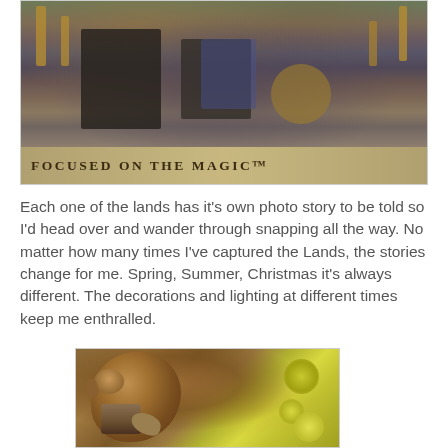[Figure (photo): A bronze statue base with text 'FOCUSED ON THE MAGIC™' in front of a castle with decorative gold elements and blue/purple hues in the background.]
Each one of the lands has it's own photo story to be told so I'd head over and wander through snapping all the way. No matter how many times I've captured the Lands, the stories change for me. Spring, Summer, Christmas it's always different. The decorations and lighting at different times keep me enthralled.
[Figure (photo): Close-up of a bronze Pinocchio figurine/statue with yellow flowers in the background.]